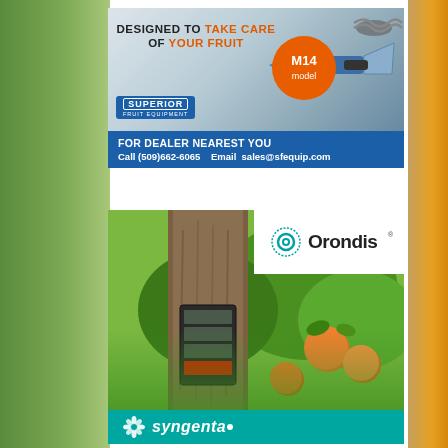[Figure (advertisement): Superior Fruit Equipment advertisement for M14 model pruner. Headline: DESIGNED TO TAKE CARE OF YOUR FRUIT. Orange circle badge: M14 model. Superior Fruit Equipment logo. Blue bar with text: FOR DEALER NEAREST YOU / Call (509)662-6065  Email  sales@sfequip.com]
[Figure (advertisement): Orondis / Syngenta advertisement. Shows Orondis logo (teal circular logo with text 'Orondis'). Photo of citrus tree with oranges hanging and a sensor/device on tree trunk. Syngenta logo in teal footer bar.]